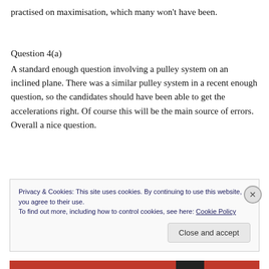practised on maximisation, which many won't have been.
Question 4(a)
A standard enough question involving a pulley system on an inclined plane. There was a similar pulley system in a recent enough question, so the candidates should have been able to get the accelerations right. Of course this will be the main source of errors. Overall a nice question.
Privacy & Cookies: This site uses cookies. By continuing to use this website, you agree to their use.
To find out more, including how to control cookies, see here: Cookie Policy
Close and accept